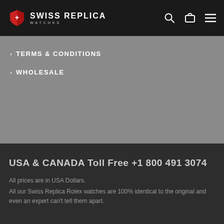SWISS REPLICA WATCHES
> TERMS & CONDITIONS
> WHOLESALE
USA & CANADA Toll Free +1 800 491 3074
All prices are in USA Dollars.
All our Swiss Replica Rolex watches are 100% identical to the original and even an expert can't tell them apart.